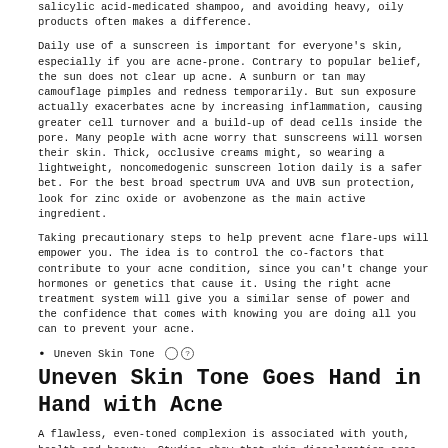salicylic acid-medicated shampoo, and avoiding heavy, oily products often makes a difference.
Daily use of a sunscreen is important for everyone's skin, especially if you are acne-prone. Contrary to popular belief, the sun does not clear up acne. A sunburn or tan may camouflage pimples and redness temporarily. But sun exposure actually exacerbates acne by increasing inflammation, causing greater cell turnover and a build-up of dead cells inside the pore. Many people with acne worry that sunscreens will worsen their skin. Thick, occlusive creams might, so wearing a lightweight, noncomedogenic sunscreen lotion daily is a safer bet. For the best broad spectrum UVA and UVB sun protection, look for zinc oxide or avobenzone as the main active ingredient.
Taking precautionary steps to help prevent acne flare-ups will empower you. The idea is to control the co-factors that contribute to your acne condition, since you can't change your hormones or genetics that cause it. Using the right acne treatment system will give you a similar sense of power and the confidence that comes with knowing you are doing all you can to prevent your acne.
Uneven Skin Tone
Uneven Skin Tone Goes Hand in Hand with Acne
A flawless, even-toned complexion is associated with youth, health and beauty. Studies show that skin discoloration ages your appearance more than wrinkles. Brown patches, sunspots, and post-acne dark marks